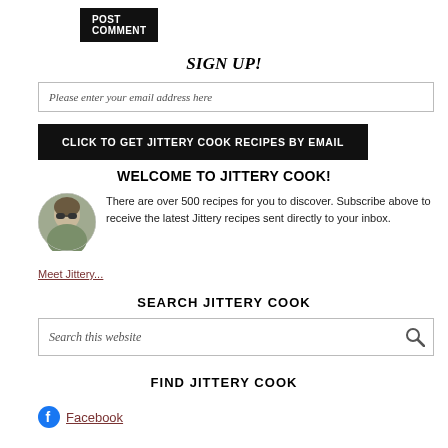POST COMMENT
SIGN UP!
Please enter your email address here
CLICK TO GET JITTERY COOK RECIPES BY EMAIL
WELCOME TO JITTERY COOK!
[Figure (photo): Circular portrait photo of a woman wearing sunglasses, outdoors]
There are over 500 recipes for you to discover. Subscribe above to receive the latest Jittery recipes sent directly to your inbox.
Meet Jittery...
SEARCH JITTERY COOK
Search this website
FIND JITTERY COOK
Facebook